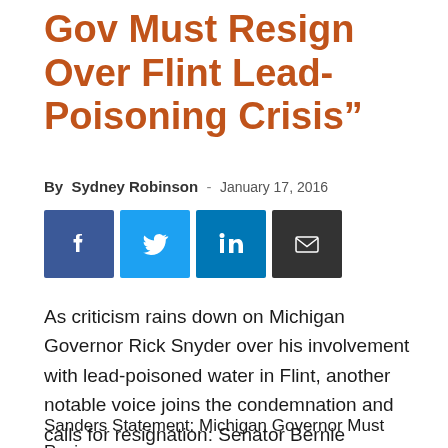Gov Must Resign Over Flint Lead-Poisoning Crisis"
By Sydney Robinson - January 17, 2016
[Figure (other): Social sharing buttons: Facebook (blue), Twitter (light blue), LinkedIn (dark blue), Email (black)]
As criticism rains down on Michigan Governor Rick Snyder over his involvement with lead-poisoned water in Flint, another notable voice joins the condemnation and calls for resignation: Senator Bernie Sanders.
Sanders released this statement on his website and twitter:
Sanders Statement: Michigan Governor Must Resign over